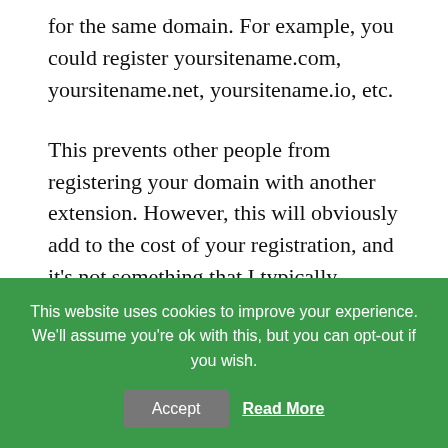for the same domain. For example, you could register yoursitename.com, yoursitename.net, yoursitename.io, etc.
This prevents other people from registering your domain with another extension. However, this will obviously add to the cost of your registration, and it's not something that I typically recommend.
3 Tricks For the Best
This website uses cookies to improve your experience. We'll assume you're ok with this, but you can opt-out if you wish.